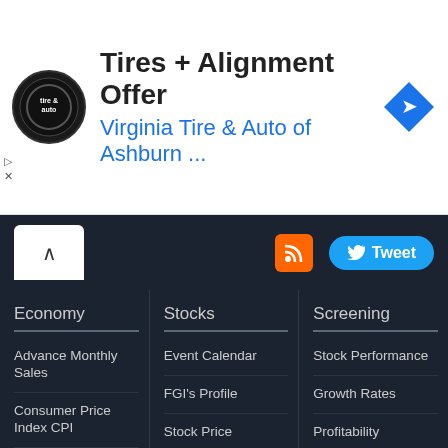[Figure (other): Advertisement banner: Tires + Alignment Offer from Virginia Tire & Auto of Ashburn with logo and arrow icon]
Tires + Alignment Offer
Virginia Tire & Auto of Ashburn ...
Economy
Stocks
Screening
Advance Monthly Sales
Consumer Price Index CPI
Producer Price Index PPI
Retail Inventories
Personal Income
Gross Domestic Product GDP
Event Calendar
FGI's Profile
Stock Price
FGI's Financials
Business Description
Fundamentals
Stock Performance
Growth Rates
Profitability
Valuation
Dividend
Financial Strength